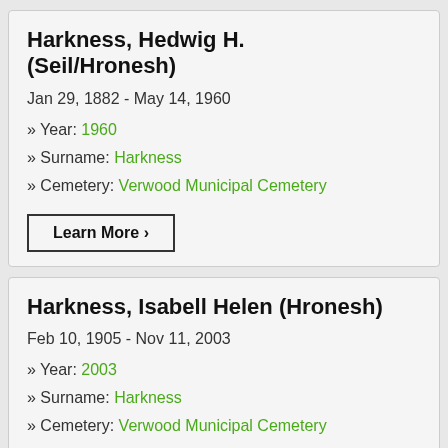Harkness, Hedwig H. (Seil/Hronesh)
Jan 29, 1882 - May 14, 1960
» Year: 1960
» Surname: Harkness
» Cemetery: Verwood Municipal Cemetery
Learn More >
Harkness, Isabell Helen (Hronesh)
Feb 10, 1905 - Nov 11, 2003
» Year: 2003
» Surname: Harkness
» Cemetery: Verwood Municipal Cemetery
Learn More >